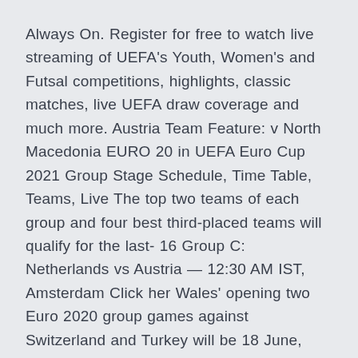Always On. Register for free to watch live streaming of UEFA's Youth, Women's and Futsal competitions, highlights, classic matches, live UEFA draw coverage and much more. Austria Team Feature: v North Macedonia EURO 20 in UEFA Euro Cup 2021 Group Stage Schedule, Time Table, Teams, Live The top two teams of each group and four best third-placed teams will qualify for the last- 16 Group C: Netherlands vs Austria — 12:30 AM IST, Amsterdam Click her Wales' opening two Euro 2020 group games against Switzerland and Turkey will be 18 June, 20:00: Netherlands v Austria (Amsterdam) BBC. Netherlands Vs Germany: Live Stream And TV Channel For Euro 2020 Germany will host the Netherlands on Friday for their next Euro 2020 qualifying clash, and here's Coverage